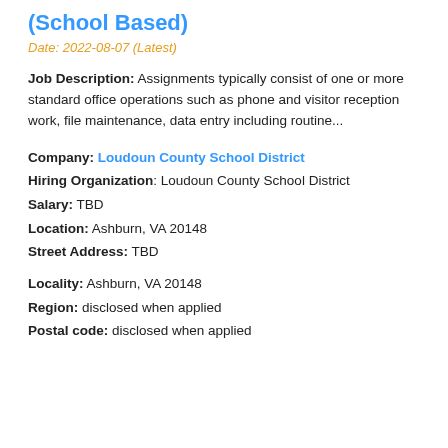(School Based)
Date: 2022-08-07 (Latest)
Job Description: Assignments typically consist of one or more standard office operations such as phone and visitor reception work, file maintenance, data entry including routine...
Company: Loudoun County School District
Hiring Organization: Loudoun County School District
Salary: TBD
Location: Ashburn, VA 20148
Street Address: TBD
Locality: Ashburn, VA 20148
Region: disclosed when applied
Postal code: disclosed when applied